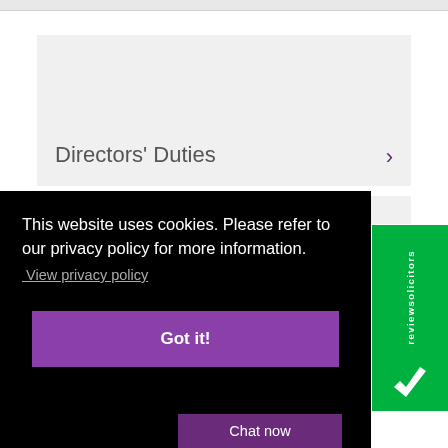Directors' Duties
This website uses cookies. Please refer to our privacy policy for more information.
View privacy policy
Got it!
reviewsolicitors
Chat now